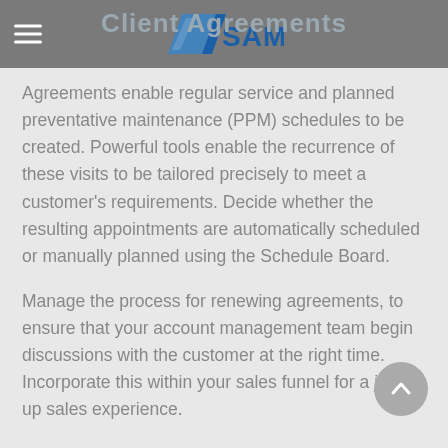Client Agreements — SAM7
Agreements enable regular service and planned preventative maintenance (PPM) schedules to be created. Powerful tools enable the recurrence of these visits to be tailored precisely to meet a customer's requirements. Decide whether the resulting appointments are automatically scheduled or manually planned using the Schedule Board.
Manage the process for renewing agreements, to ensure that your account management team begin discussions with the customer at the right time. Incorporate this within your sales funnel for a joined up sales experience.